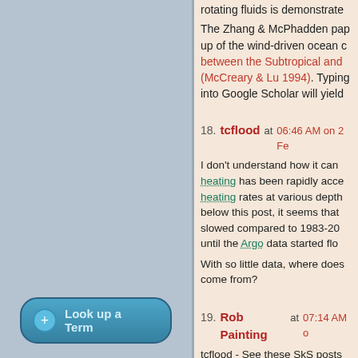rotating fluids is demonstrate...
The Zhang & McPhadden pap... up of the wind-driven ocean c... between the Subtropical and ... (McCreary & Lu 1994). Typing... into Google Scholar will yield...
18. tcflood at 06:46 AM on 2 Fe...
I don't understand how it can... heating has been rapidly acce... heating rates at various depth... below this post, it seems that... slowed compared to 1983-20... until the Argo data started flo...
With so little data, where does... come from?
19. Rob Painting at 07:14 AM o...
tcflood - See these SkS posts...
1. New Research Confirms G...